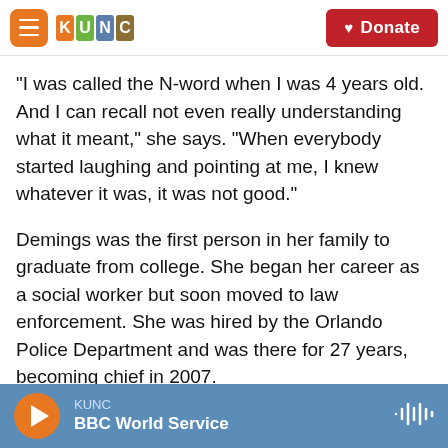KUNC — Donate
"I was called the N-word when I was 4 years old. And I can recall not even really understanding what it meant," she says. "When everybody started laughing and pointing at me, I knew whatever it was, it was not good."
Demings was the first person in her family to graduate from college. She began her career as a social worker but soon moved to law enforcement. She was hired by the Orlando Police Department and was there for 27 years, becoming chief in 2007.
Now as a congresswoman, Demings is one of the
KUNC — BBC World Service